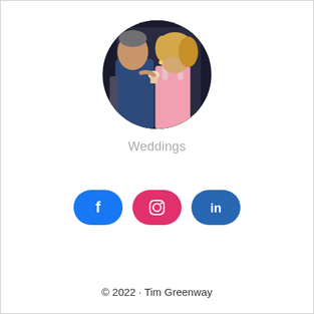[Figure (photo): Circular profile photo of a couple at a wedding — man in blue suit and woman in pink dress sharing a bite of food, candid moment]
Weddings
[Figure (infographic): Three social media icon buttons: Facebook (blue rounded rectangle with f logo), Instagram (pink/magenta rounded rectangle with camera logo), LinkedIn (blue rounded rectangle with in logo)]
© 2022 · Tim Greenway